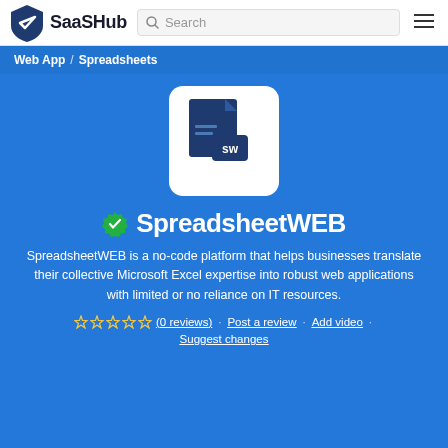SaaSHub
Web App / Spreadsheets
[Figure (logo): SpreadsheetWEB app icon: dark blue document with 'sw' text on white rounded square background]
SpreadsheetWEB
SpreadsheetWEB is a no-code platform that helps businesses translate their collective Microsoft Excel expertise into robust web applications with limited or no reliance on IT resources.
(0 reviews) · Post a review · Add video · Suggest changes
Popular businesses translate their collective Microsoft Excel